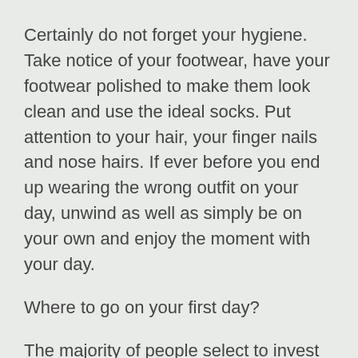Certainly do not forget your hygiene. Take notice of your footwear, have your footwear polished to make them look clean and use the ideal socks. Put attention to your hair, your finger nails and nose hairs. If ever before you end up wearing the wrong outfit on your day, unwind as well as simply be on your own and enjoy the moment with your day.
Where to go on your first day?
The majority of people select to invest their very first days on locations where they can eat or rest opposite each various other to speak as well as know each various other much better but the problem with this setting is that the day may end up being even more of a meeting than a day. Fulfilling for the first time on